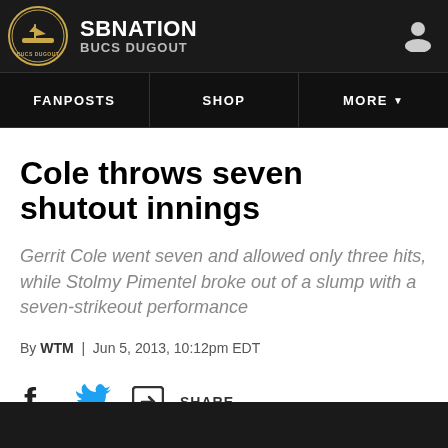SBNATION BUCS DUGOUT
FANPOSTS | SHOP | MORE
Cole throws seven shutout innings
Gerrit Cole went seven and allowed only three hits, while Stolmy Pimentel broke out of a slump with a seven-strikeout performance
By WTM | Jun 5, 2013, 10:12pm EDT
[Figure (other): Social share buttons: Facebook, Twitter, and Share icons]